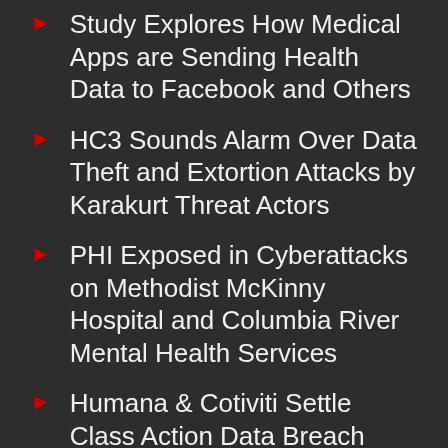Study Explores How Medical Apps are Sending Health Data to Facebook and Others
HC3 Sounds Alarm Over Data Theft and Extortion Attacks by Karakurt Threat Actors
PHI Exposed in Cyberattacks on Methodist McKinny Hospital and Columbia River Mental Health Services
Humana & Cotiviti Settle Class Action Data Breach Lawsuit
Data Breaches Reported by the New Jersey Department